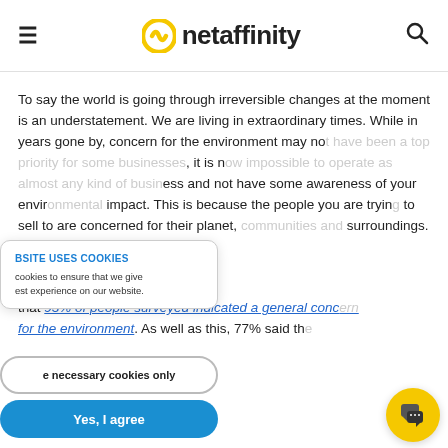netaffinity (logo with nav hamburger and search icon)
To say the world is going through irreversible changes at the moment is an understatement. We are living in extraordinary times. While in years gone by, concern for the environment may not have been a top priority for some businesses, it is now impossible to operate as almost any kind of business and not have some awareness of your environmental impact. This is because the people you are trying to sell to are concerned for their planet, communities and surroundings.
prefer sustainable brands.
Cross University in 2019 s... that 93% of people surveyed indicated a general concern for the environment. As well as this, 77% said the
BSITE USES COOKIES
cookies to ensure that we give
est experience on our website.
e necessary cookies only
Yes, I agree